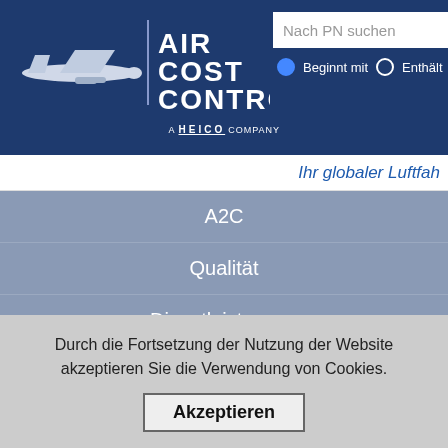[Figure (logo): Air Cost Control logo with airplane silhouette, A HEICO COMPANY text, and search bar with Nach PN suchen input, Beginnt mit / Enthält radio buttons]
Ihr globaler Luftfah
A2C
Qualität
Dienstleistungen
Products
Über uns
Durch die Fortsetzung der Nutzung der Website akzeptieren Sie die Verwendung von Cookies.
Akzeptieren